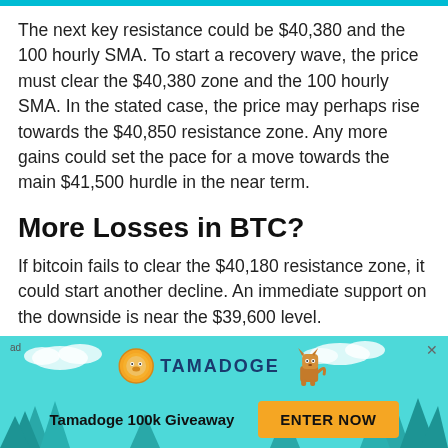The next key resistance could be $40,380 and the 100 hourly SMA. To start a recovery wave, the price must clear the $40,380 zone and the 100 hourly SMA. In the stated case, the price may perhaps rise towards the $40,850 resistance zone. Any more gains could set the pace for a move towards the main $41,500 hurdle in the near term.
More Losses in BTC?
If bitcoin fails to clear the $40,180 resistance zone, it could start another decline. An immediate support on the downside is near the $39,600 level.
[Figure (infographic): Tamadoge advertisement banner with teal background, trees, clouds, coin logo, dog mascot, 'TAMADOGE' title, 'Tamadoge 100k Giveaway' text, and 'ENTER NOW' button]